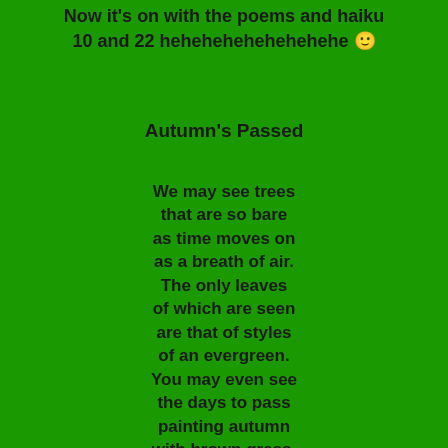Now it's on with the poems and haiku 10 and 22 hehehehehehehehehehe 🙂
Autumn's Passed
We may see trees that are so bare as time moves on as a breath of air. The only leaves of which are seen are that of styles of an evergreen. You may even see the days to pass painting autumn with brown grass. The passing life is that of a style as death displays an autumn smile. Created with color